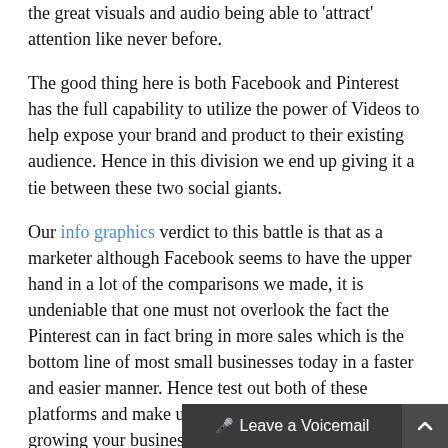the great visuals and audio being able to 'attract' attention like never before.
The good thing here is both Facebook and Pinterest has the full capability to utilize the power of Videos to help expose your brand and product to their existing audience. Hence in this division we end up giving it a tie between these two social giants.
Our info graphics verdict to this battle is that as a marketer although Facebook seems to have the upper hand in a lot of the comparisons we made, it is undeniable that one must not overlook the fact the Pinterest can in fact bring in more sales which is the bottom line of most small businesses today in a faster and easier manner. Hence test out both of these platforms and make use of their strengths to continue growing your business at a desirable rate.